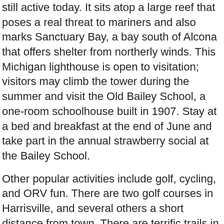still active today. It sits atop a large reef that poses a real threat to mariners and also marks Sanctuary Bay, a bay south of Alcona that offers shelter from northerly winds. This Michigan lighthouse is open to visitation; visitors may climb the tower during the summer and visit the Old Bailey School, a one-room schoolhouse built in 1907. Stay at a bed and breakfast at the end of June and take part in the annual strawberry social at the Bailey School.
Other popular activities include golf, cycling, and ORV fun. There are two golf courses in Harrisville, and several others a short distance from town. There are terrific trails in Northeast Michigan ideal for biking, skiing and walking. Two lead out of Alpena, just thirty minutes north of Harrisville: the Alpena to Mackinac Trail and the Alpena to Hilman Trail.
It's easy to delve into nature in Northeast Michigan. Give